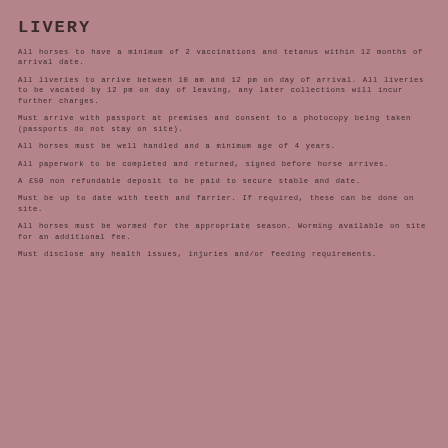LIVERY
All horses to have a minimum of 2 vaccinations and tetanus within 12 months of arrival date.
All liveries to arrive between 10 am and 12 pm on day of arrival. All liveries to be vacated by 12 pm on day of leaving, any later collections will incur further charges.
Must arrive with passport at premises and consent to a photocopy being taken (passports do not stay on site).
All horses must be well handled and a minimum age of 4 years.
All paperwork to be completed and returned, signed before horse arrives.
A £50 non refundable deposit to be paid to secure stable and date.
Must be up to date with teeth and farrier. If required, these can be done on site.
All horses must be wormed for the appropriate season. Worming available on site for an additional fee.
Must disclose any health issues, injuries and/or feeding requirements.